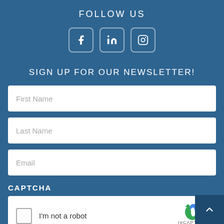FOLLOW US
[Figure (infographic): Three social media icons: Facebook (f), LinkedIn (in), and Instagram (camera) in rounded square white-bordered boxes on blue background]
SIGN UP FOR OUR NEWSLETTER!
First Name
Last Name
Email
CAPTCHA
[Figure (screenshot): reCAPTCHA widget with checkbox labeled 'I'm not a robot' and reCAPTCHA logo with Privacy and Terms links]
[Figure (other): Back to top button (dark blue square with upward chevron arrow) in bottom right corner]